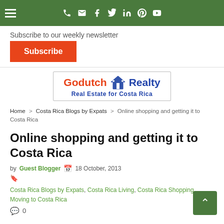Navigation bar with hamburger menu and social icons
Subscribe to our weekly newsletter
Subscribe
[Figure (logo): Godutch Realty - Real Estate for Costa Rica logo with windmill icon]
Home > Costa Rica Blogs by Expats > Online shopping and getting it to Costa Rica
Online shopping and getting it to Costa Rica
by Guest Blogger  18 October, 2013
Costa Rica Blogs by Expats, Costa Rica Living, Costa Rica Shopping, Moving to Costa Rica
0
Estimated Reading Time: 7 Minutes